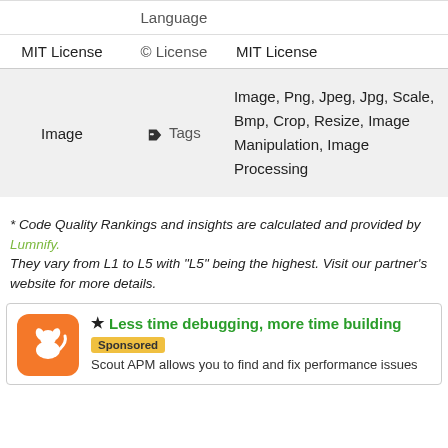|  |  | Language |
| --- | --- | --- |
| MIT License | © License | MIT License |
| Image | 🏷 Tags | Image, Png, Jpeg, Jpg, Scale, Bmp, Crop, Resize, Image Manipulation, Image Processing |
* Code Quality Rankings and insights are calculated and provided by Lumnify. They vary from L1 to L5 with "L5" being the highest. Visit our partner's website for more details.
★ Less time debugging, more time building
Sponsored
Scout APM allows you to find and fix performance issues